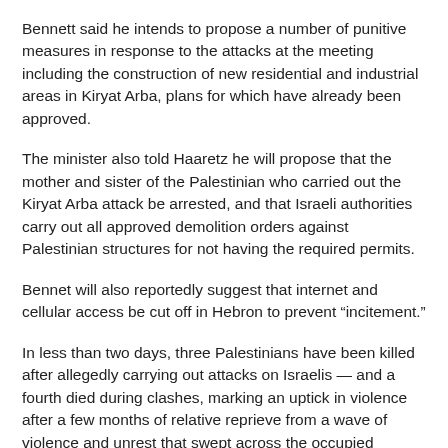Bennett said he intends to propose a number of punitive measures in response to the attacks at the meeting including the construction of new residential and industrial areas in Kiryat Arba, plans for which have already been approved.
The minister also told Haaretz he will propose that the mother and sister of the Palestinian who carried out the Kiryat Arba attack be arrested, and that Israeli authorities carry out all approved demolition orders against Palestinian structures for not having the required permits.
Bennet will also reportedly suggest that internet and cellular access be cut off in Hebron to prevent “incitement.”
In less than two days, three Palestinians have been killed after allegedly carrying out attacks on Israelis — and a fourth died during clashes, marking an uptick in violence after a few months of relative reprieve from a wave of violence and unrest that swept across the occupied Palestinian territory and Israel since October, leaving more than 220 Palestinians and some 31 Israelis killed.